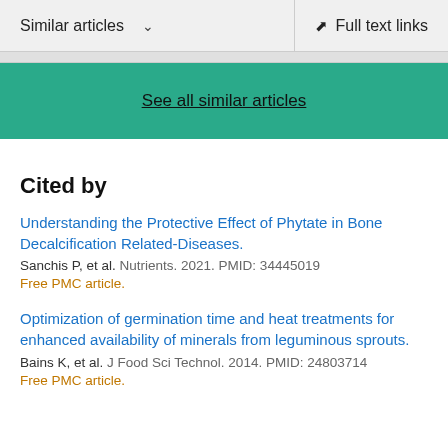Similar articles  ∨    Full text links
See all similar articles
Cited by
Understanding the Protective Effect of Phytate in Bone Decalcification Related-Diseases.
Sanchis P, et al. Nutrients. 2021. PMID: 34445019
Free PMC article.
Optimization of germination time and heat treatments for enhanced availability of minerals from leguminous sprouts.
Bains K, et al. J Food Sci Technol. 2014. PMID: 24803714
Free PMC article.